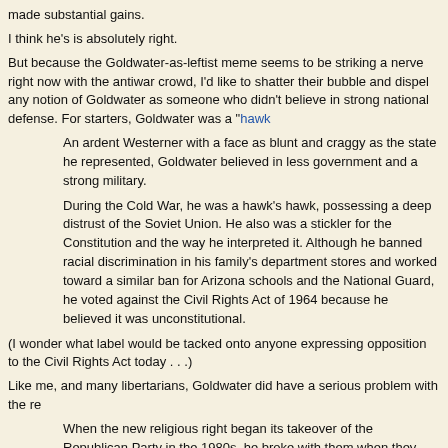made substantial gains.
I think he's is absolutely right.
But because the Goldwater-as-leftist meme seems to be striking a nerve right now with the antiwar crowd, I'd like to shatter their bubble and dispel any notion of Goldwater as someone who didn't believe in strong national defense. For starters, Goldwater was a "hawk
An ardent Westerner with a face as blunt and craggy as the state he represented, Goldwater believed in less government and a strong military.
During the Cold War, he was a hawk's hawk, possessing a deep distrust of the Soviet Union. He also was a stickler for the Constitution and the way he interpreted it. Although he banned racial discrimination in his family's department stores and worked toward a similar ban for Arizona schools and the National Guard, he voted against the Civil Rights Act of 1964 because he believed it was unconstitutional.
(I wonder what label would be tacked onto anyone expressing opposition to the Civil Rights Act today . . .)
Like me, and many libertarians, Goldwater did have a serious problem with the re
When the new religious right began its takeover of the Republican Party in the 1980s, he broke with them when they advocated limits on the court's ability to bar prayer in school or order busing. He thought their demands would break the separation of powers between the courts and the Congress, and that religion had no place in politics.
He believed that the federal government should stay out of people's private lives, which is why, late in life, he came out pro-choice and pro-gay rights.
This made him a libertarian. But he never became a dove. Even late in life, he still